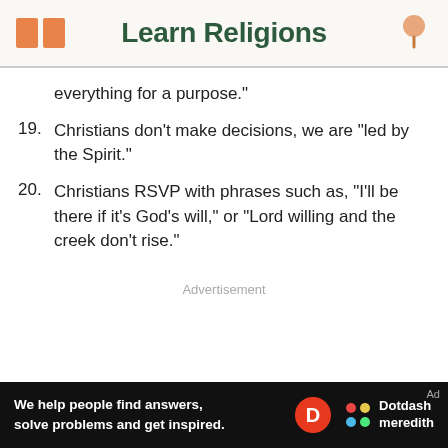Learn Religions
everything for a purpose."
19. Christians don't make decisions, we are "led by the Spirit."
20. Christians RSVP with phrases such as, "I'll be there if it's God's will," or "Lord willing and the creek don't rise."
Advertisement
[Figure (infographic): Dotdash Meredith advertisement banner: 'We help people find answers, solve problems and get inspired.' with Dotdash Meredith logo on black background.]